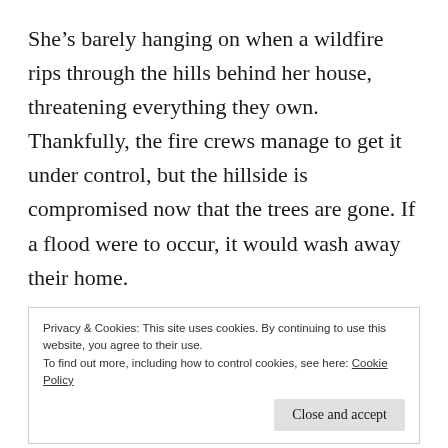She's barely hanging on when a wildfire rips through the hills behind her house, threatening everything they own. Thankfully, the fire crews manage to get it under control, but the hillside is compromised now that the trees are gone. If a flood were to occur, it would wash away their home.
In steps public works supervisor Colin Hudson with a plan to fortify the embankment and build two
Privacy & Cookies: This site uses cookies. By continuing to use this website, you agree to their use.
To find out more, including how to control cookies, see here: Cookie Policy
[Close and accept]